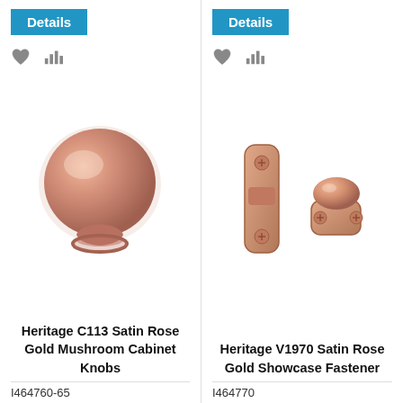[Figure (photo): Blue Details button for Heritage C113 product]
[Figure (photo): Blue Details button for Heritage V1970 product]
[Figure (photo): Heart and bar chart icons for Heritage C113]
[Figure (photo): Heart and bar chart icons for Heritage V1970]
[Figure (photo): Heritage C113 Satin Rose Gold Mushroom Cabinet Knob product photo]
[Figure (photo): Heritage V1970 Satin Rose Gold Showcase Fastener product photo]
Heritage C113 Satin Rose Gold Mushroom Cabinet Knobs
Heritage V1970 Satin Rose Gold Showcase Fastener
I464760-65
I464770